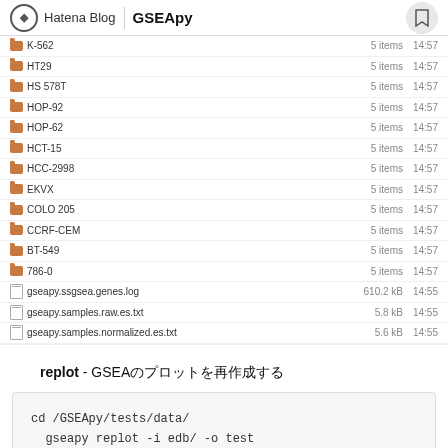Hatena Blog | GSEApy
K-562  5 items  14:57
HT29  5 items  14:57
HS 578T  5 items  14:57
HOP-92  5 items  14:57
HOP-62  5 items  14:57
HCT-15  5 items  14:57
HCC-2998  5 items  14:57
EKVX  5 items  14:57
COLO 205  5 items  14:57
CCRF-CEM  5 items  14:57
BT-549  5 items  14:57
786-0  5 items  14:57
gseapy.ssgsea.genes.log  610.2 kB  14:55
gseapy.samples.raw.es.txt  5.8 kB  14:55
gseapy.samples.normalized.es.txt  5.6 kB  14:55
replot - GSEAのプロットを再作成する
cd /GSEApy/tests/data/
  gseapy replot -i edb/ -o test